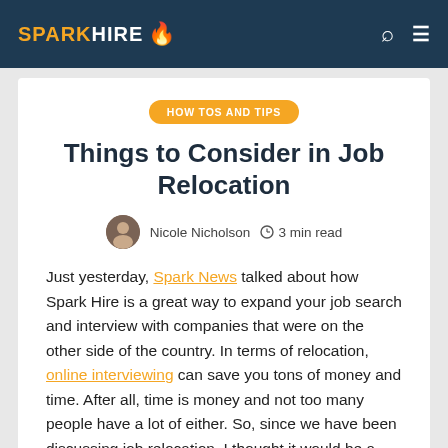SPARK HIRE
HOW TOS AND TIPS
Things to Consider in Job Relocation
Nicole Nicholson  🕐 3 min read
Just yesterday, Spark News talked about how Spark Hire is a great way to expand your job search and interview with companies that were on the other side of the country. In terms of relocation, online interviewing can save you tons of money and time. After all, time is money and not too many people have a lot of either. So, since we have been discussing job relocation, I thought it would be a